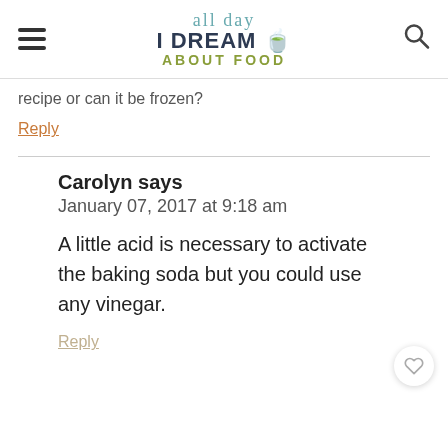all day I DREAM ABOUT FOOD
recipe or can it be frozen?
Reply
Carolyn says
January 07, 2017 at 9:18 am
A little acid is necessary to activate the baking soda but you could use any vinegar.
Reply